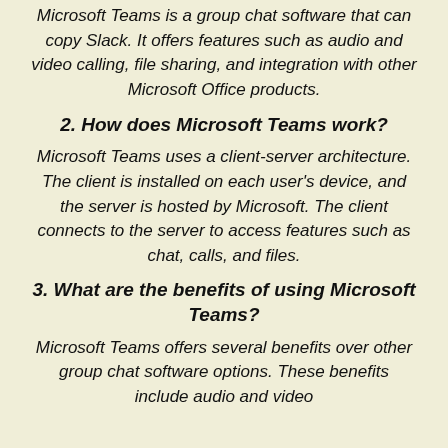Microsoft Teams is a group chat software that can copy Slack. It offers features such as audio and video calling, file sharing, and integration with other Microsoft Office products.
2. How does Microsoft Teams work?
Microsoft Teams uses a client-server architecture. The client is installed on each user's device, and the server is hosted by Microsoft. The client connects to the server to access features such as chat, calls, and files.
3. What are the benefits of using Microsoft Teams?
Microsoft Teams offers several benefits over other group chat software options. These benefits include audio and video